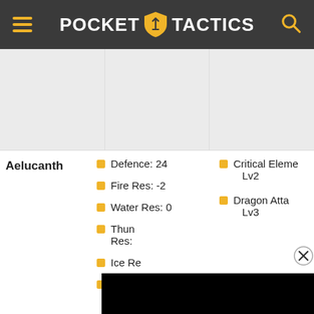POCKET TACTICS
[Figure (screenshot): Three gray placeholder image cells side by side]
| Name | Stats | Skills |
| --- | --- | --- |
| Aelucanth | Defence: 24 | Fire Res: -2 | Water Res: 0 | Thunder Res: [hidden] | Ice Res: [hidden] | Dragon Res: 2 | Critical Element Lv2 | Dragon Attack Lv3 |
[Figure (screenshot): Black overlay covering part of the stats and skills columns, with a close (X) button]